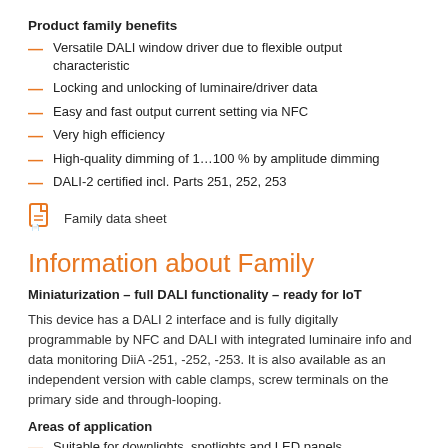Product family benefits
Versatile DALI window driver due to flexible output characteristic
Locking and unlocking of luminaire/driver data
Easy and fast output current setting via NFC
Very high efficiency
High-quality dimming of 1…100 % by amplitude dimming
DALI-2 certified incl. Parts 251, 252, 253
Family data sheet
Information about Family
Miniaturization – full DALI functionality – ready for IoT
This device has a DALI 2 interface and is fully digitally programmable by NFC and DALI with integrated luminaire info and data monitoring DiiA -251, -252, -253. It is also available as an independent version with cable clamps, screw terminals on the primary side and through-looping.
Areas of application
Suitable for downlights, spotlights and LED panels